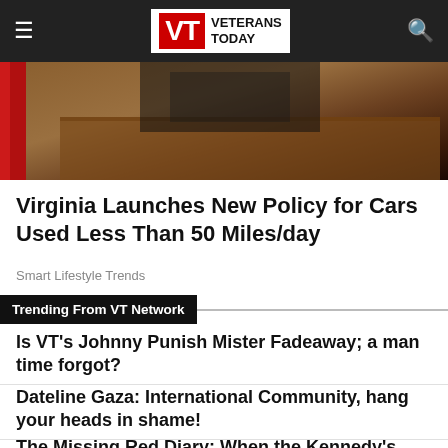Veterans Today
[Figure (photo): Hero image showing a person at a podium or wooden surface, with a red flag visible on the left side. Dark tones throughout.]
Virginia Launches New Policy for Cars Used Less Than 50 Miles/day
Smart Lifestyle Trends
Trending From VT Network
Is VT's Johnny Punish Mister Fadeaway; a man time forgot?
Dateline Gaza: International Community, hang your heads in shame!
The Missing Red Diary: When the Kennedy's